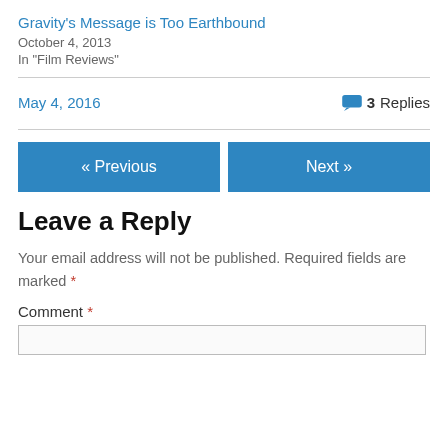Gravity's Message is Too Earthbound
October 4, 2013
In "Film Reviews"
May 4, 2016
3 Replies
« Previous
Next »
Leave a Reply
Your email address will not be published. Required fields are marked *
Comment *